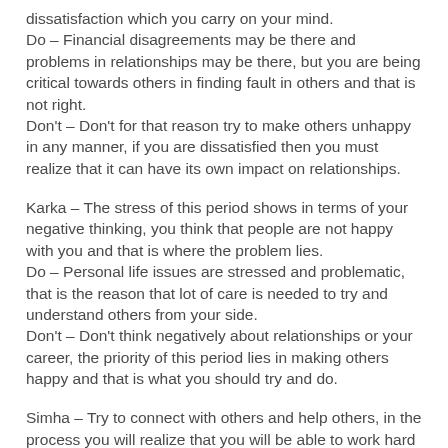dissatisfaction which you carry on your mind.
Do – Financial disagreements may be there and problems in relationships may be there, but you are being critical towards others in finding fault in others and that is not right.
Don't – Don't for that reason try to make others unhappy in any manner, if you are dissatisfied then you must realize that it can have its own impact on relationships.
Karka – The stress of this period shows in terms of your negative thinking, you think that people are not happy with you and that is where the problem lies.
Do – Personal life issues are stressed and problematic, that is the reason that lot of care is needed to try and understand others from your side.
Don't – Don't think negatively about relationships or your career, the priority of this period lies in making others happy and that is what you should try and do.
Simha – Try to connect with others and help others, in the process you will realize that you will be able to work hard from your side.
Do – You may be stressed and unhappy with your own